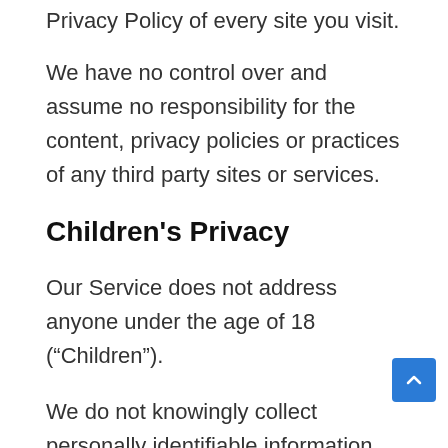site. We strongly advise you to review the Privacy Policy of every site you visit.
We have no control over and assume no responsibility for the content, privacy policies or practices of any third party sites or services.
Children's Privacy
Our Service does not address anyone under the age of 18 (“Children”).
We do not knowingly collect personally identifiable information from anyone under age of 18. If you are a parent or guardian and